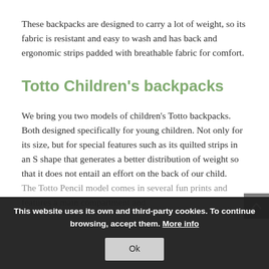These backpacks are designed to carry a lot of weight, so its fabric is resistant and easy to wash and has back and ergonomic strips padded with breathable fabric for comfort.
Totto Children’s backpacks
We bring you two models of children’s Totto backpacks. Both designed specifically for young children. Not only for its size, but for special features such as its quilted strips in an S shape that generates a better distribution of weight so that it does not entail an effort on the back of our child.
The Totto Pencil model comes in several fun prints and features a main compartment and
This website uses its own and third-party cookies. To continue browsing, accept them. More info Ok